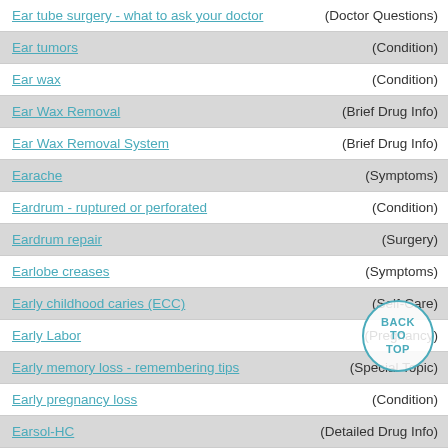Ear tube surgery - what to ask your doctor (Doctor Questions)
Ear tumors (Condition)
Ear wax (Condition)
Ear Wax Removal (Brief Drug Info)
Ear Wax Removal System (Brief Drug Info)
Earache (Symptoms)
Eardrum - ruptured or perforated (Condition)
Eardrum repair (Surgery)
Earlobe creases (Symptoms)
Early childhood caries (ECC) (Self-Care)
Early Labor (Pregnancy)
Early memory loss - remembering tips (Special Topic)
Early pregnancy loss (Condition)
Earsol-HC (Detailed Drug Info)